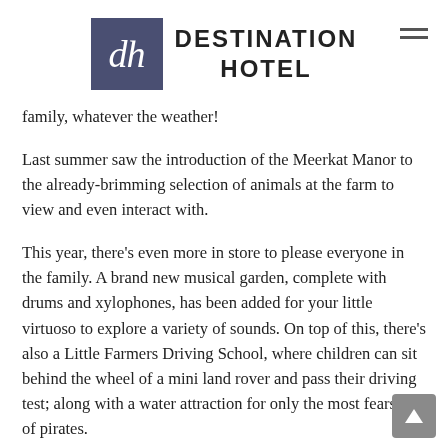[Figure (logo): Destination Hotel logo: dark navy square with 'dh' in white italic serif font, beside bold sans-serif text reading 'DESTINATION HOTEL']
family, whatever the weather!
Last summer saw the introduction of the Meerkat Manor to the already-brimming selection of animals at the farm to view and even interact with.
This year, there’s even more in store to please everyone in the family. A brand new musical garden, complete with drums and xylophones, has been added for your little virtuoso to explore a variety of sounds. On top of this, there’s also a Little Farmers Driving School, where children can sit behind the wheel of a mini land rover and pass their driving test; along with a water attraction for only the most fearsome of pirates.